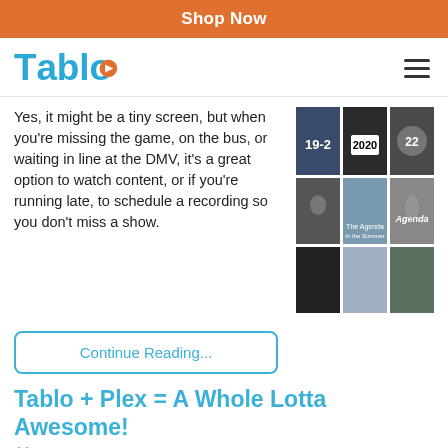Shop Now
[Figure (logo): Tablo logo with blue text and orange play button icon]
Yes, it might be a tiny screen, but when you're missing the game, on the bus, or waiting in line at the DMV, it's a great option to watch content, or if you're running late, to schedule a recording so you don't miss a show.
[Figure (photo): 3x3 grid of TV show thumbnails including 19-2, 2020, 22 Minutes, and other shows including The Agenda]
Continue Reading...
Tablo + Plex = A Whole Lotta Awesome!
July 22, 2014